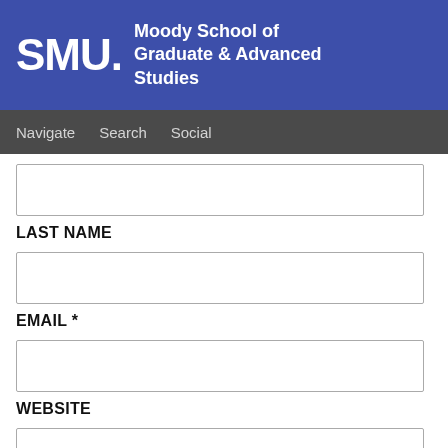[Figure (logo): SMU Moody School of Graduate & Advanced Studies logo on blue background]
Navigate  Search  Social
(input field)
LAST NAME
(input field)
EMAIL *
(input field)
WEBSITE